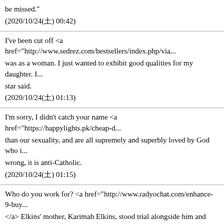be missed."
(2020/10/24(土) 00:42)
I've been cut off <a href="http://www.sedrez.com/bestsellers/index.php/via... was as a woman. I just wanted to exhibit good qualities for my daughter. I star said.
(2020/10/24(土) 01:13)
I'm sorry, I didn't catch your name <a href="https://happylights.pk/cheap-d... than our sexuality, and are all supremely and superbly loved by God who i... wrong, it is anti-Catholic.
(2020/10/24(土) 01:15)
Who do you work for? <a href="http://www.radyochat.com/enhance-9-buy... </a> Elkins' mother, Karimah Elkins, stood trial alongside him and was co... charged with trying to help him avoid prosecution in the case.
(2020/10/24(土) 01:25)
What sort of music do you like? <a href="http://plateroytu.com/advair-and... Thepwitoon Chim-Ngog told Reuters news agency.
(2020/10/24(土) 01:30)
I've only just arrived <a href="https://www.newsopi.com/clindamycin-hyd... Scotland would getan estimated 90 percent of current U.K. oil and gas reve... □□□□□ economic prospects has yetto resonate with voters: support for indepe...
(2020/10/24(土) 01:56)
Very Good Site <a href="https://victima.org/vibralung-for-sale-9uhz">vibr... □□... and □□□□□ and then some other than theealthi...